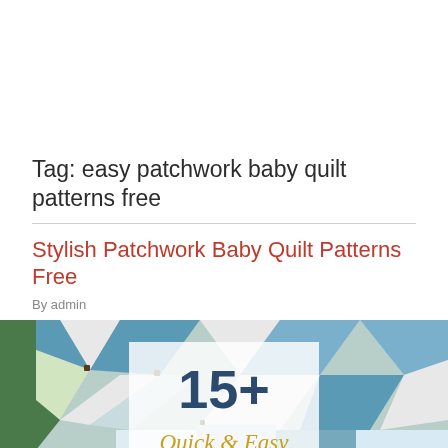Tag: easy patchwork baby quilt patterns free
Stylish Patchwork Baby Quilt Patterns Free
By admin
[Figure (photo): Photo of a patchwork baby quilt with blue, white, and yellow fabric pieces in a geometric pattern. An overlay box shows '15+' in dark blue and 'Quick & Easy' in gold italic script.]